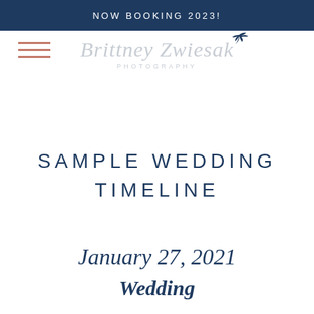NOW BOOKING 2023!
[Figure (logo): Hamburger menu icon with three horizontal salmon/coral colored lines]
[Figure (logo): Brittney Zwiesak Photography logo in light gray script with a dark navy bird silhouette, and 'PHOTOGRAPHY' in spaced caps below]
SAMPLE WEDDING TIMELINE
January 27, 2021
Wedding